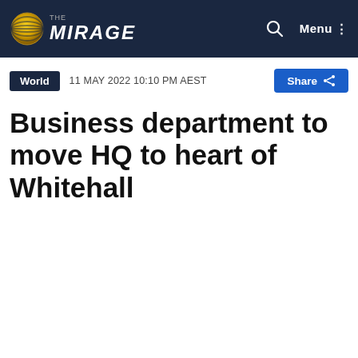THE MIRAGE — Navigation bar with logo, search, and menu
World  11 MAY 2022 10:10 PM AEST  Share
Business department to move HQ to heart of Whitehall